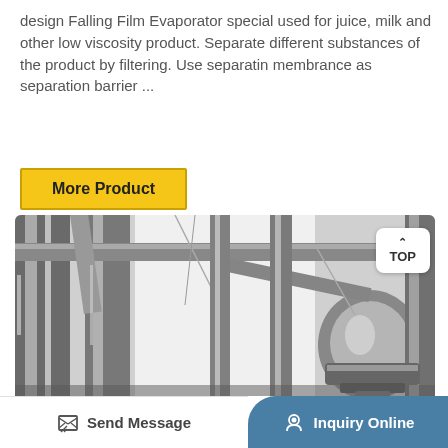design Falling Film Evaporator special used for juice, milk and other low viscosity product. Separate different substances of the product by filtering. Use separatin membrance as separation barrier ...
More Product
[Figure (photo): Close-up photograph of a stainless steel Falling Film Evaporator equipment showing polished metal tubes and structural supports, with a TOP navigation button visible in the upper right corner.]
Send Message
Inquiry Online